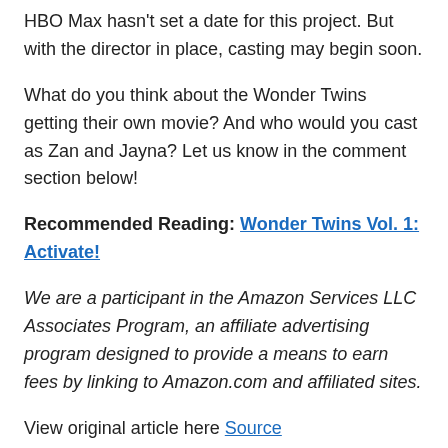HBO Max hasn't set a date for this project. But with the director in place, casting may begin soon.
What do you think about the Wonder Twins getting their own movie? And who would you cast as Zan and Jayna? Let us know in the comment section below!
Recommended Reading: Wonder Twins Vol. 1: Activate!
We are a participant in the Amazon Services LLC Associates Program, an affiliate advertising program designed to provide a means to earn fees by linking to Amazon.com and affiliated sites.
View original article here Source